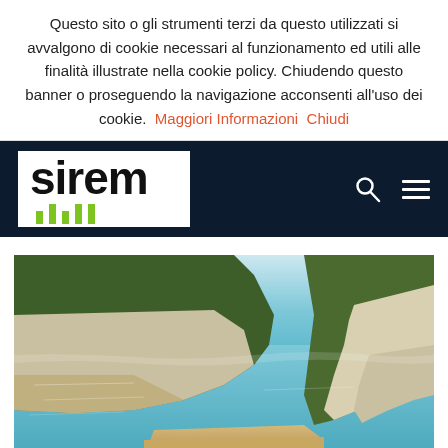Questo sito o gli strumenti terzi da questo utilizzati si avvalgono di cookie necessari al funzionamento ed utili alle finalità illustrate nella cookie policy. Chiudendo questo banner o proseguendo la navigazione acconsenti all'uso dei cookie.  Maggiori Informazioni  Chiudi
[Figure (screenshot): SIREM website navigation bar with white logo on dark navy background, search icon and hamburger menu icons on the right]
[Figure (photo): Coastal landscape photo showing limestone white cliffs with green vegetation and a turquoise sea with a sandy beach]